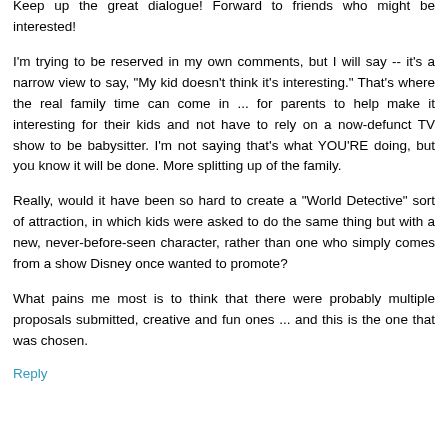Keep up the great dialogue! Forward to friends who might be interested!
I'm trying to be reserved in my own comments, but I will say -- it's a narrow view to say, "My kid doesn't think it's interesting." That's where the real family time can come in ... for parents to help make it interesting for their kids and not have to rely on a now-defunct TV show to be babysitter. I'm not saying that's what YOU'RE doing, but you know it will be done. More splitting up of the family.
Really, would it have been so hard to create a "World Detective" sort of attraction, in which kids were asked to do the same thing but with a new, never-before-seen character, rather than one who simply comes from a show Disney once wanted to promote?
What pains me most is to think that there were probably multiple proposals submitted, creative and fun ones ... and this is the one that was chosen.
Reply